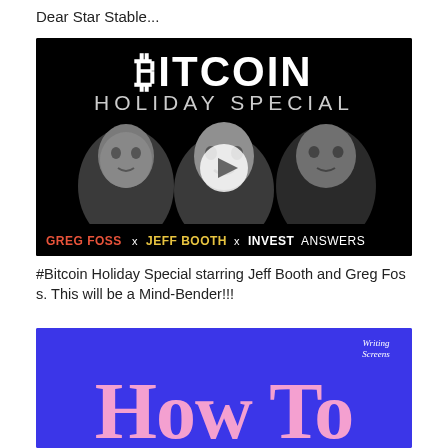Dear Star Stable...
[Figure (screenshot): Bitcoin Holiday Special video thumbnail showing three men in grayscale against black background, with text 'BITCOIN HOLIDAY SPECIAL' and names 'GREG FOSS x JEFF BOOTH x INVESTANSWERS' at bottom]
#Bitcoin Holiday Special starring Jeff Booth and Greg Foss. This will be a Mind-Bender!!!
[Figure (screenshot): Blue background image with 'Writing Screens' logo and large pink text 'How To']